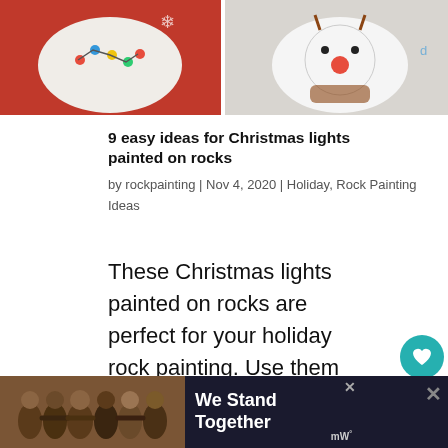[Figure (photo): Two painted rocks on red background — left rock has Christmas lights design with white/colorful decorations, right rock has a reindeer face with red nose on white/gray background]
9 easy ideas for Christmas lights painted on rocks
by rockpainting | Nov 4, 2020 | Holiday, Rock Painting Ideas
These Christmas lights painted on rocks are perfect for your holiday rock painting. Use them to decorate your Christmas table, give them as stocking stuffers, or hide them around your
[Figure (photo): Advertisement banner: group of people with arms around each other, text reads We Stand Together with mw logo]